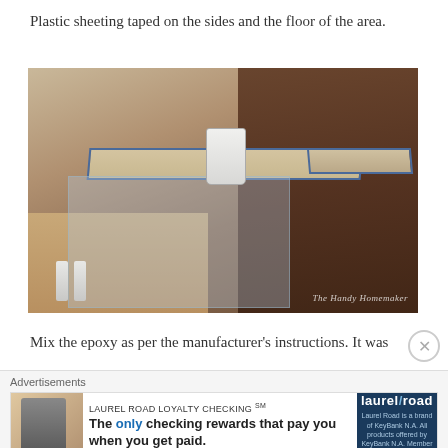Plastic sheeting taped on the sides and the floor of the area.
[Figure (photo): A home bar with L-shaped countertop covered in decorative rocks/pebbles and wrapped in blue painter's tape along the edges; clear plastic sheeting draped over the front sides and floor; a white plastic bucket sitting on the bar surface; spray bottles on the floor to the left; dark wood cabinetry and shelving with bottles in the background. Watermark reads 'The Handy Homemaker'.]
Mix the epoxy as per the manufacturer's instructions. It was
Advertisements
[Figure (other): Advertisement for Laurel Road Loyalty Checking. Text: 'LAUREL ROAD LOYALTY CHECKING SM — The only checking rewards that pay you when you get paid.' Logo on right side shows 'laurel/road' on dark blue background with fine print: 'Laurel Road is a brand of KeyBank N.A. All products offered by KeyBank N.A. Member FDIC.']